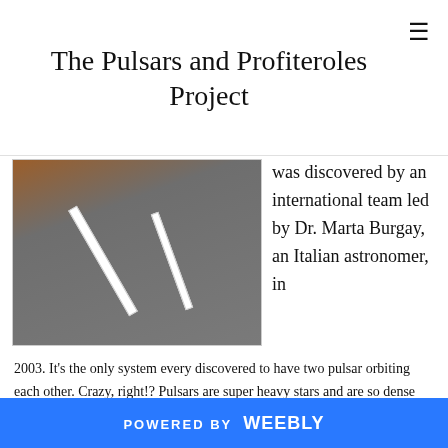The Pulsars and Profiteroles Project
[Figure (photo): Photograph of two paper strips with handwritten text lying on a grey surface, with an orange object partially visible in the upper left corner.]
was discovered by an international team led by Dr. Marta Burgay, an Italian astronomer, in 2003. It's the only system every discovered to have two pulsar orbiting each other. Crazy, right!? Pulsars are super heavy stars and are so dense that a teaspoon of their material would weigh as much as Mount Everest! These stars are so heavy that they warp space around them. General relativity is the special name for our current theory of gravity (yes Einstein came up with it!) and describes
POWERED BY weebly